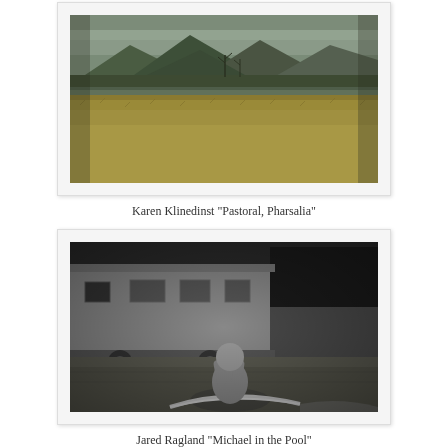[Figure (photo): Landscape photograph showing a wide open field with golden-green grass in the foreground, rolling hills and mountains in the background, and a few bare trees in the middle ground under an overcast sky. Color photograph with a vintage, muted tone.]
Karen Klinedinst "Pastoral, Pharsalia"
[Figure (photo): Black and white photograph showing a child sitting at the edge of a small inflatable pool, covering their face with their hands. In the background is a large old trailer/caravan. The scene has a melancholic, documentary style.]
Jared Ragland  "Michael in the Pool"